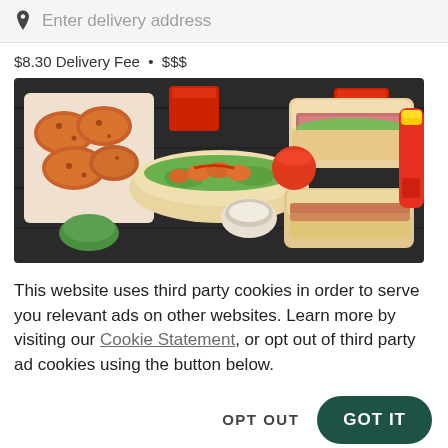Enter delivery address
$8.30 Delivery Fee • $$$
[Figure (photo): Overhead shot of fast food spread on dark wooden table: fried chicken tenders in a tray, sub sandwiches with shredded lettuce and deli meat, shrimp/chicken in a sub roll, small cups with dipping sauces, and a bottle of hot sauce]
This website uses third party cookies in order to serve you relevant ads on other websites. Learn more by visiting our Cookie Statement, or opt out of third party ad cookies using the button below.
OPT OUT
GOT IT